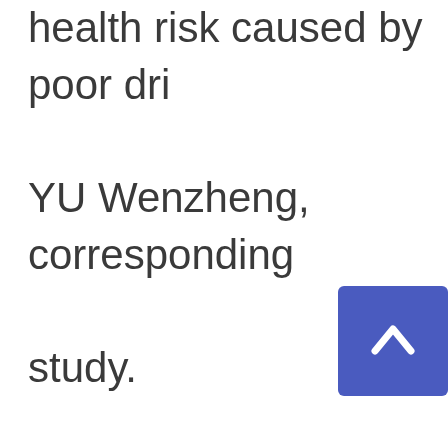health risk caused by poor dri… YU Wenzheng, corresponding … study. Advanced water treatment su… biofiltration can effectively rem… byproduct precursors, accordin… researchers. In Shangh… pr…